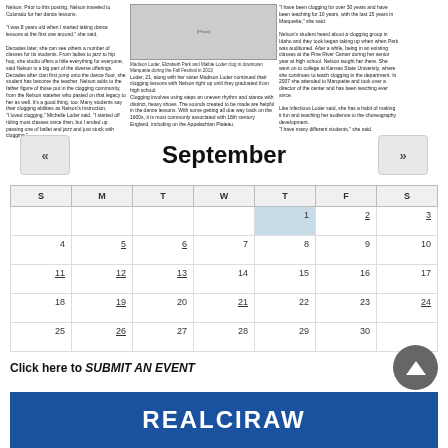[Figure (photo): Newspaper article with photo of two women clogging in downtown Marquette during the Fall Festival in 2013]
Madison Loder, Elizabeth Park and Maible Loder clog in downtown Marquette during the Fall Festival in 2013
September
| S | M | T | W | T | F | S |
| --- | --- | --- | --- | --- | --- | --- |
|  |  |  |  | 1 | 2 | 3 |
| 4 | 5 | 6 | 7 | 8 | 9 | 10 |
| 11 | 12 | 13 | 14 | 15 | 16 | 17 |
| 18 | 19 | 20 | 21 | 22 | 23 | 24 |
| 25 | 26 | 27 | 28 | 29 | 30 |  |
Click here to SUBMIT AN EVENT